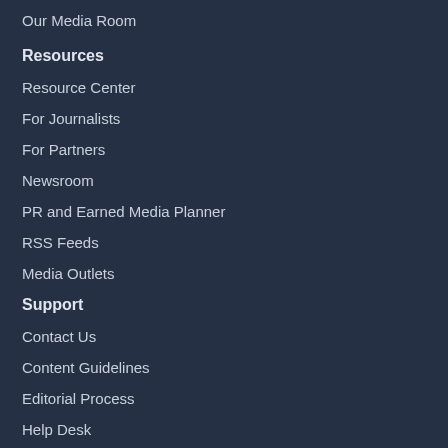Our Media Room
Resources
Resource Center
For Journalists
For Partners
Newsroom
PR and Earned Media Planner
RSS Feeds
Media Outlets
Support
Contact Us
Content Guidelines
Editorial Process
Help Desk